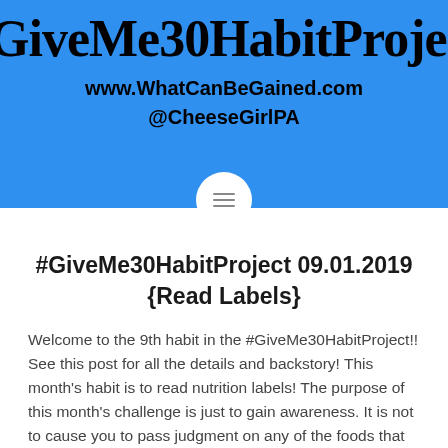#GiveMe30HabitProject
www.WhatCanBeGained.com
@CheeseGirlPA
#GiveMe30HabitProject 09.01.2019 {Read Labels}
Welcome to the 9th habit in the #GiveMe30HabitProject!! See this post for all the details and backstory! This month's habit is to read nutrition labels! The purpose of this month's challenge is just to gain awareness. It is not to cause you to pass judgment on any of the foods that you are eating. You also do...